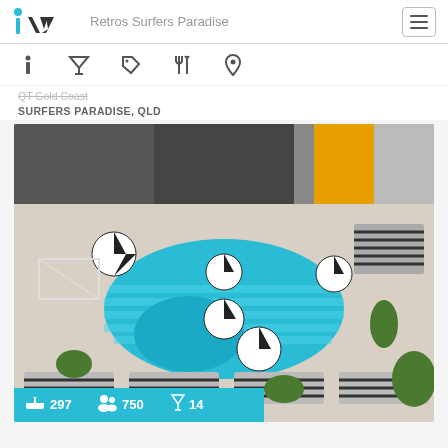iVvy  Retros Surfers Paradise
QT Gold Coast
SURFERS PARADISE, QLD
[Figure (photo): Aerial view of a resort pool area with black and white striped umbrellas and loungers, turquoise pool with striped bottom, white cabanas, and surrounding buildings including a yellow accent building. Stats overlay at bottom: 297 rooms, 750 capacity, 14 bars.]
297  750  14